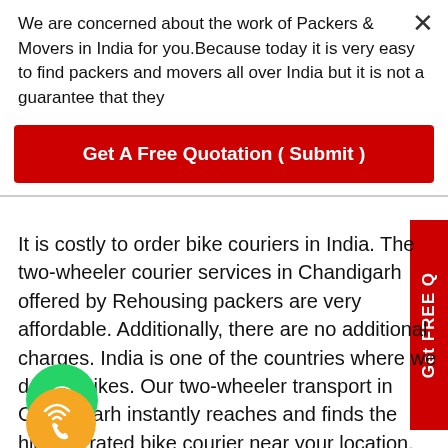We are concerned about the work of Packers & Movers in India for you.Because today it is very easy to find packers and movers all over India but it is not a guarantee that they
Get A Free Quotation ( Submit )
It is costly to order bike couriers in India. The two-wheeler courier services in Chandigarh offered by Rehousing packers are very affordable. Additionally, there are no additional charges. India is one of the countries where we deliver bikes. Our two-wheeler transport in Chandigarh instantly reaches and finds the highest-rated bike courier near your location. Every time you need a bike courier service in Chandigarh so that your parcel can be delivered as quickly as possible. The recipient gets the best quality motorcycle parcel service possible
[Figure (other): Phone call icon circle (orange)]
[Figure (other): WhatsApp icon circle (green)]
Get FREE Q